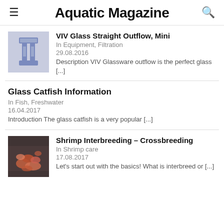Aquatic Magazine
VIV Glass Straight Outflow, Mini
In Equipment, Filtration
29.08.2016
Description VIV Glassware outflow is the perfect glass [...]
Glass Catfish Information
In Fish, Freshwater
16.04.2017
Introduction The glass catfish is a very popular [...]
Shrimp Interbreeding – Crossbreeding
In Shrimp care
17.08.2017
Let's start out with the basics! What is interbreed or [...]